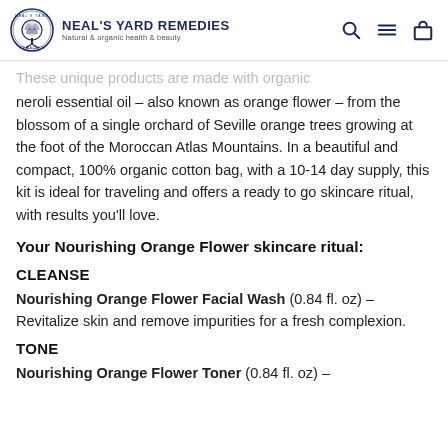Neal's Yard Remedies — Natural & organic health & beauty
These unique products are made with organic neroli essential oil – also known as orange flower – from the blossom of a single orchard of Seville orange trees growing at the foot of the Moroccan Atlas Mountains. In a beautiful and compact, 100% organic cotton bag, with a 10-14 day supply, this kit is ideal for traveling and offers a ready to go skincare ritual, with results you'll love.
Your Nourishing Orange Flower skincare ritual:
CLEANSE
Nourishing Orange Flower Facial Wash (0.84 fl. oz) – Revitalize skin and remove impurities for a fresh complexion.
TONE
Nourishing Orange Flower Toner (0.84 fl. oz) –